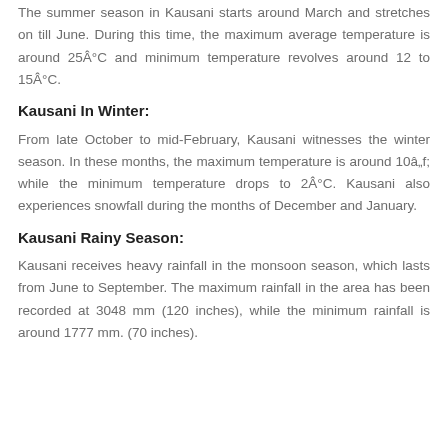The summer season in Kausani starts around March and stretches on till June. During this time, the maximum average temperature is around 25Â°C and minimum temperature revolves around 12 to 15Â°C.
Kausani In Winter:
From late October to mid-February, Kausani witnesses the winter season. In these months, the maximum temperature is around 10â„f; while the minimum temperature drops to 2Â°C. Kausani also experiences snowfall during the months of December and January.
Kausani Rainy Season:
Kausani receives heavy rainfall in the monsoon season, which lasts from June to September. The maximum rainfall in the area has been recorded at 3048 mm (120 inches), while the minimum rainfall is around 1777 mm. (70 inches).